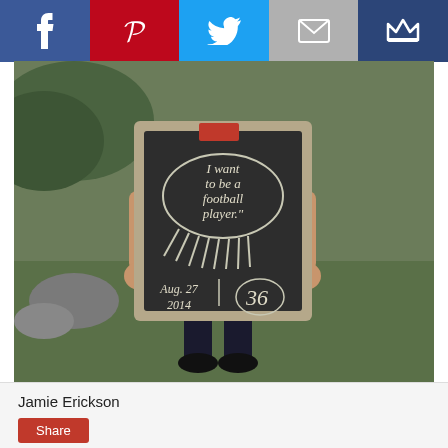[Figure (screenshot): Social sharing toolbar with Facebook (blue), Pinterest (red), Twitter (light blue), Email (grey), and Bloglovin (dark blue) buttons with white icons]
[Figure (photo): Child holding a chalkboard sign that reads 'I want to be a football player.' with 'Aug. 27 2014' and '3 6' written below, outdoors on grass]
It'll be a busy year for him.
But, I know he's up for the challenge!
Jamie Erickson
Share